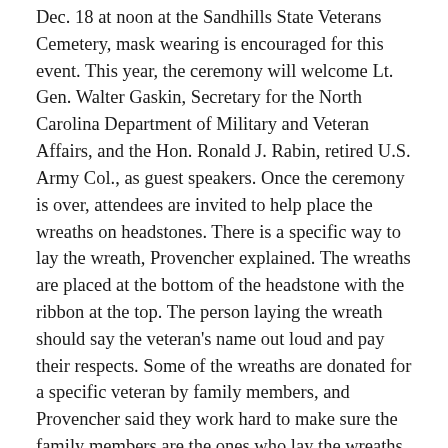Dec. 18 at noon at the Sandhills State Veterans Cemetery, mask wearing is encouraged for this event. This year, the ceremony will welcome Lt. Gen. Walter Gaskin, Secretary for the North Carolina Department of Military and Veteran Affairs, and the Hon. Ronald J. Rabin, retired U.S. Army Col., as guest speakers. Once the ceremony is over, attendees are invited to help place the wreaths on headstones. There is a specific way to lay the wreath, Provencher explained. The wreaths are placed at the bottom of the headstone with the ribbon at the top. The person laying the wreath should say the veteran's name out loud and pay their respects. Some of the wreaths are donated for a specific veteran by family members, and Provencher said they work hard to make sure the family members are the ones who lay the wreaths on their veteran's headstone.
Wreaths Across America is always looking for volunteers. The Sandhills State Veterans Cemetery Wreaths Across America committee currently has five people, but Provencher said more are always welcome.